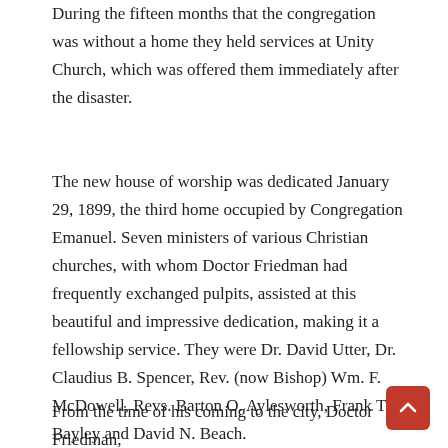During the fifteen months that the congregation was without a home they held services at Unity Church, which was offered them immediately after the disaster.
The new house of worship was dedicated January 29, 1899, the third home occupied by Congregation Emanuel. Seven ministers of various Christian churches, with whom Doctor Friedman had frequently exchanged pulpits, assisted at this beautiful and impressive dedication, making it a fellowship service. They were Dr. David Utter, Dr. Claudius B. Spencer, Rev. (now Bishop) Wm. F. McDowell, Revs. Barton O. Aylesworth, Frank T. Bayley and David N. Beach.
From the time of his coming to the city, Doctor Friedman,